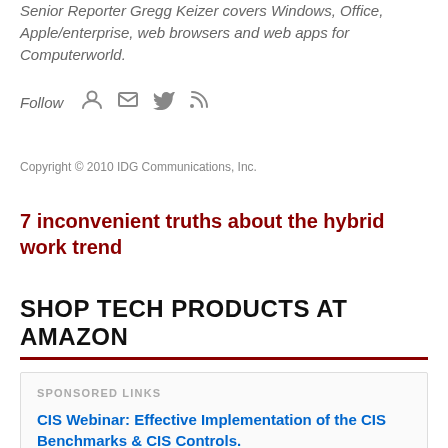Senior Reporter Gregg Keizer covers Windows, Office, Apple/enterprise, web browsers and web apps for Computerworld.
Follow
Copyright © 2010 IDG Communications, Inc.
7 inconvenient truths about the hybrid work trend
SHOP TECH PRODUCTS AT AMAZON
SPONSORED LINKS
CIS Webinar: Effective Implementation of the CIS Benchmarks & CIS Controls.